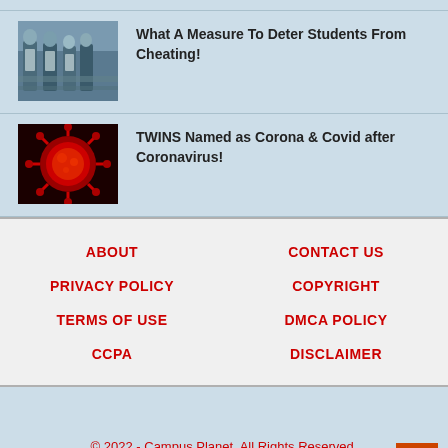[Figure (photo): Students in a classroom, viewed from behind, wearing white uniforms, seated at desks]
What A Measure To Deter Students From Cheating!
[Figure (photo): Close-up of red coronavirus particles on dark background]
TWINS Named as Corona & Covid after Coronavirus!
ABOUT
CONTACT US
PRIVACY POLICY
COPYRIGHT
TERMS OF USE
DMCA POLICY
CCPA
DISCLAIMER
© 2022 - Campus Planet. All Rights Reserved.